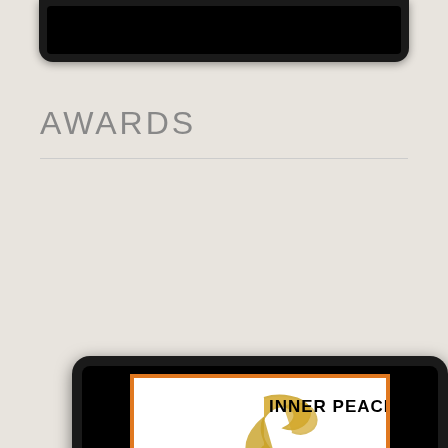[Figure (screenshot): Top portion of a tablet/device frame showing a black screen, partially cropped at top of page]
AWARDS
[Figure (screenshot): Tablet device frame displaying an Inner Peace Award image. The award card has an orange border, features a golden dove illustration, a green olive branch, a purple ribbon/hand, and the text INNER PEACE AWARD. Media player controls (previous, pause, next) are overlaid on the bottom of the card.]